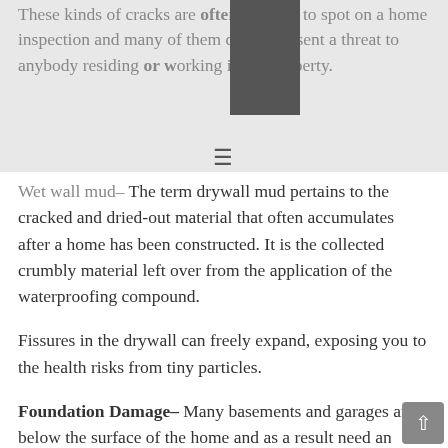These kinds of cracks are often difficult to spot on a home inspection and many of them do not present a threat to anybody residing or working in the property.
Wet wall mud– The term drywall mud pertains to the cracked and dried-out material that often accumulates after a home has been constructed. It is the collected crumbly material left over from the application of the waterproofing compound.
Fissures in the drywall can freely expand, exposing you to the health risks from tiny particles.
Foundation Damage– Many basements and garages are below the surface of the home and as a result need an extra amount of protection from the inside